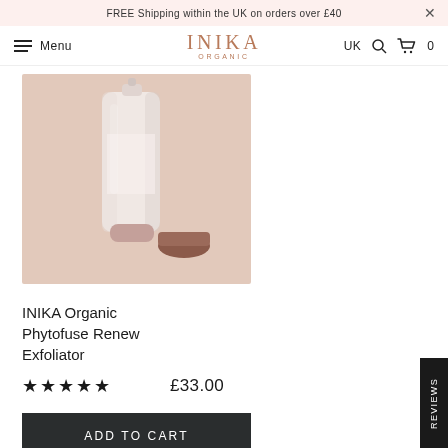FREE Shipping within the UK on orders over £40
Menu | INIKA ORGANIC | UK | 0
[Figure (photo): INIKA Organic Phytofuse Renew Exfoliator product tube and cap on a beige background]
INIKA Organic Phytofuse Renew Exfoliator
★★★★★  £33.00
ADD TO CART